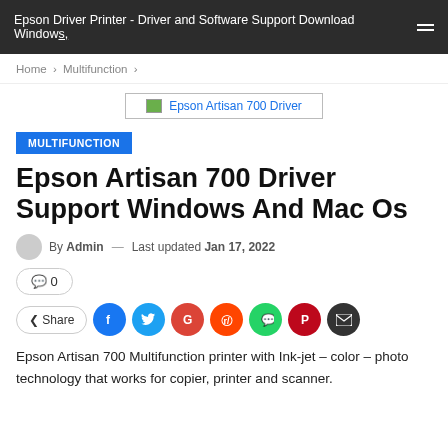Epson Driver Printer - Driver and Software Support Download Windows,
Home > Multifunction >
[Figure (screenshot): Ad banner with text 'Epson Artisan 700 Driver' shown as a linked image placeholder]
MULTIFUNCTION
Epson Artisan 700 Driver Support Windows And Mac Os
By Admin — Last updated Jan 17, 2022
💬 0
Share (social icons: Facebook, Twitter, Google, Reddit, WhatsApp, Pinterest, Email)
Epson Artisan 700 Multifunction printer with Ink-jet – color – photo technology that works for copier, printer and scanner.